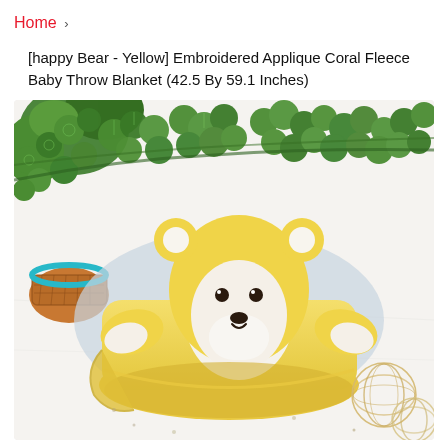Home > [happy Bear - Yellow] Embroidered Applique Coral Fleece Baby Throw Blanket (42.5 By 59.1 Inches)
[Figure (photo): A yellow bear-shaped coral fleece baby throw blanket rolled up and photographed on a white surface with green plants in the background and decorative wicker balls.]